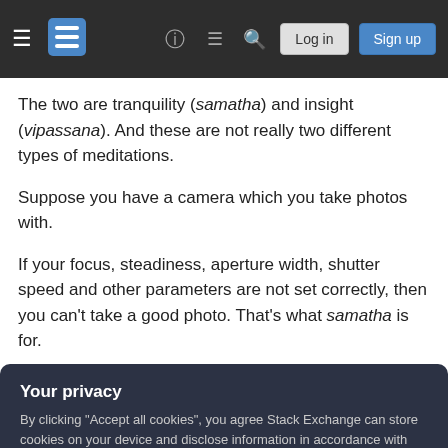Stack Exchange navigation bar with logo, help, chat, search, login and sign up buttons
The two are tranquility (samatha) and insight (vipassana). And these are not really two different types of meditations.
Suppose you have a camera which you take photos with.
If your focus, steadiness, aperture width, shutter speed and other parameters are not set correctly, then you can't take a good photo. That's what samatha is for.
Your privacy
By clicking "Accept all cookies", you agree Stack Exchange can store cookies on your device and disclose information in accordance with our Cookie Policy.
Accept all cookies | Customize settings
at the right subject and tune the parameters, in order to get a good photo.